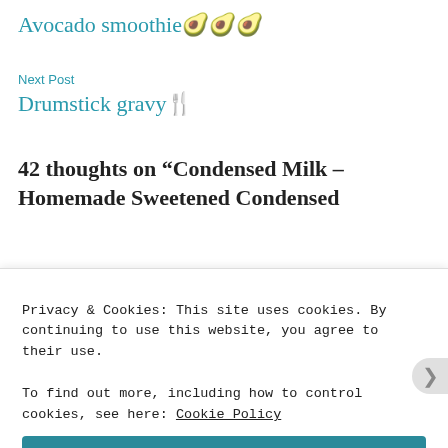Avocado smoothie 🥑🥑🥑
Next Post
Drumstick gravy🍴
42 thoughts on “Condensed Milk – Homemade Sweetened Condensed
Privacy & Cookies: This site uses cookies. By continuing to use this website, you agree to their use.
To find out more, including how to control cookies, see here: Cookie Policy
Close and accept